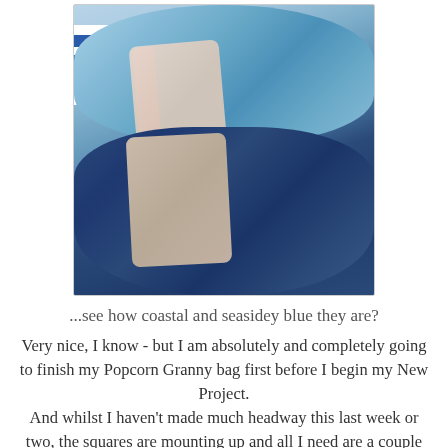[Figure (photo): Two balls of Sublime yarn stacked on a surface - light blue on top and dark navy blue on the bottom, each with a tan/beige label. A striped blue and white mug is visible in the background on the left.]
...see how coastal and seasidey blue they are?
Very nice, I know - but I am absolutely and completely going to finish my Popcorn Granny bag first before I begin my New Project.
And whilst I haven't made much headway this last week or two, the squares are mounting up and all I need are a couple more before I start to join them ~ and I will share a little tutorial for this as I've been asked how you do this, and so I